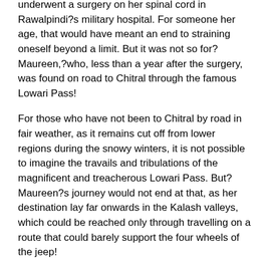underwent a surgery on her spinal cord in Rawalpindi?s military hospital. For someone her age, that would have meant an end to straining oneself beyond a limit. But it was not so for?Maureen,?who, less than a year after the surgery, was found on road to Chitral through the famous Lowari Pass!
For those who have not been to Chitral by road in fair weather, as it remains cut off from lower regions during the snowy winters, it is not possible to imagine the travails and tribulations of the magnificent and treacherous Lowari Pass. But?Maureen?s journey would not end at that, as her destination lay far onwards in the Kalash valleys, which could be reached only through travelling on a route that could barely support the four wheels of the jeep!
At 52, when physical decline in the body sets in for most,?Maureen?decided to cross over into Nuristan in Afghanistan through the 16,000-feet-high Shawal Pass in the Hindu Kush mountains. She scaled the vertiginous heights in the company of a young shepherd and a mule.